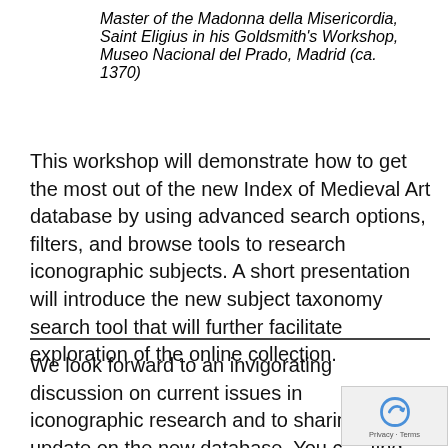Master of the Madonna della Misericordia, Saint Eligius in his Goldsmith's Workshop, Museo Nacional del Prado, Madrid (ca. 1370)
This workshop will demonstrate how to get the most out of the new Index of Medieval Art database by using advanced search options, filters, and browse tools to research iconographic subjects. A short presentation will introduce the new subject taxonomy search tool that will further facilitate exploration of the online collection.
We look forward to an invigorating discussion on current issues in iconographic research and to sharing an update on the new database. You can find out more about the 54th International Congress on Medieval Studies at Kalamazoo, held from...